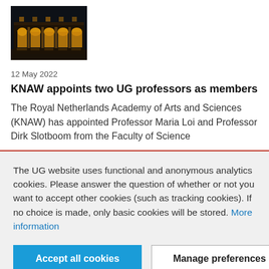[Figure (photo): Nighttime photo of a building with illuminated arched arcade/columns, appearing golden/yellow against dark sky]
12 May 2022
KNAW appoints two UG professors as members
The Royal Netherlands Academy of Arts and Sciences (KNAW) has appointed Professor Maria Loi and Professor Dirk Slotboom from the Faculty of Science
The UG website uses functional and anonymous analytics cookies. Please answer the question of whether or not you want to accept other cookies (such as tracking cookies). If no choice is made, only basic cookies will be stored. More information